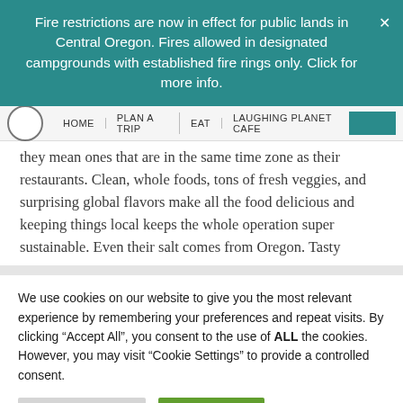Fire restrictions are now in effect for public lands in Central Oregon. Fires allowed in designated campgrounds with established fire rings only. Click for more info.
HOME   PLAN A TRIP   EAT   LAUGHING PLANET CAFE
they mean ones that are in the same time zone as their restaurants. Clean, whole foods, tons of fresh veggies, and surprising global flavors make all the food delicious and keeping things local keeps the whole operation super sustainable. Even their salt comes from Oregon. Tasty
We use cookies on our website to give you the most relevant experience by remembering your preferences and repeat visits. By clicking "Accept All", you consent to the use of ALL the cookies. However, you may visit "Cookie Settings" to provide a controlled consent.
Cookie Settings   Accept All